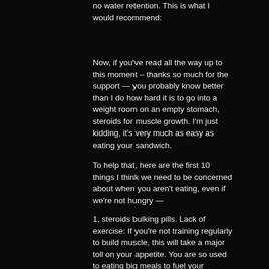no water retention. This is what I would recommend:
Now, if you've read all the way up to this moment – thanks so much for the support — you probably know better than I do how hard it is to go into a weight room on an empty stomach, steroids for muscle growth. I'm just kidding, it's very much as easy as eating your sandwich.
To help that, here are the first 10 things I think we need to be concerned about when you aren't eating, even if we're not hungry —
1, steroids bulking pills. Lack of exercise: If you're not training regularly to build muscle, this will take a major toll on your appetite. You are so used to eating big meals to fuel your workouts, and when you don't have the calories to burn to make that happen, then